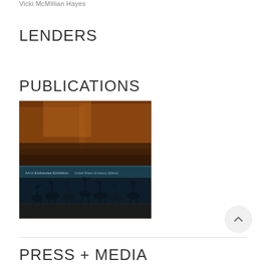Vicki McMillian Hayes
LENDERS
PUBLICATIONS
[Figure (photo): Book cover showing sandhill cranes wading in water at dusk with autumn reeds in background. Text reads: Art in Embassies Exhibition United States Embassy Djibouti]
PRESS + MEDIA